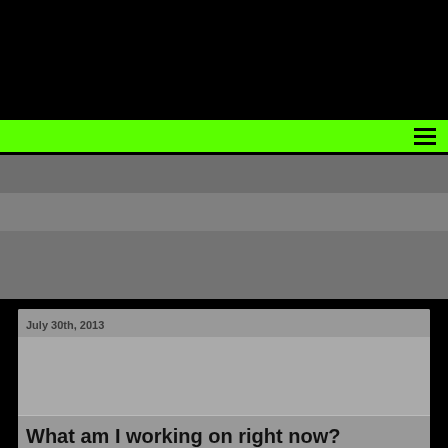navigation menu
July 30th, 2013
What am I working on right now?